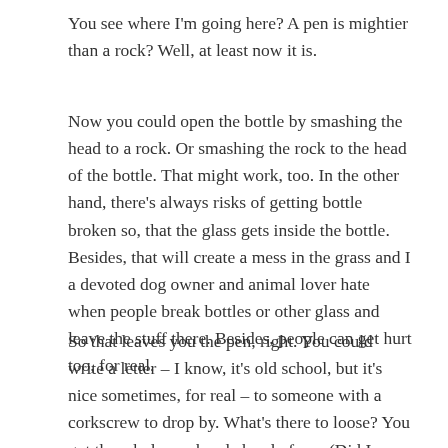You see where I'm going here? A pen is mightier than a rock? Well, at least now it is.
Now you could open the bottle by smashing the head to a rock. Or smashing the rock to the head of the bottle. That might work, too. In the other hand, there's always risks of getting bottle broken so, that the glass gets inside the bottle. Besides, that will create a mess in the grass and I a devoted dog owner and animal lover hate when people break bottles or other glass and leave the stuff there. Besides, people can get hurt too, for real.
So that leaves you the pen, right. You could write a letter – I know, it's old school, but it's nice sometimes, for real – to someone with a corkscrew to drop by. What's there to loose? You got the whole weekend ahead of you (Did I mention it is a Friday night?) Or you could rob a